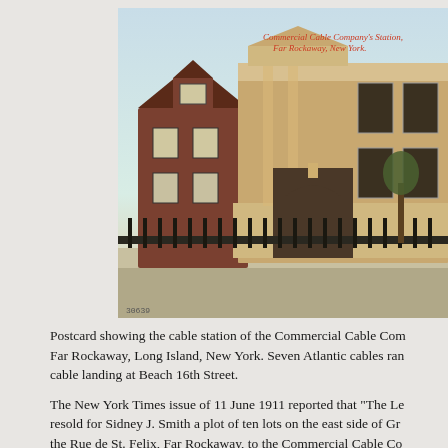[Figure (photo): Vintage colorized postcard photograph of the Commercial Cable Company's Station in Far Rockaway, New York. The image shows a grand neoclassical tan/buff brick building with arched entrance, iron fence in front, and a neighboring red brick house to the left. Text on the postcard reads 'Commercial Cable Company's Station, Far Rockaway, New York.' in red text. A postcard number '30639' is visible at the bottom left.]
Postcard showing the cable station of the Commercial Cable Company at Far Rockaway, Long Island, New York. Seven Atlantic cables ran to a cable landing at Beach 16th Street.
The New York Times issue of 11 June 1911 reported that "The Le... resold for Sidney J. Smith a plot of ten lots on the east side of Gr... the Rue de St. Felix, Far Rockaway, to the Commercial Cable Co...